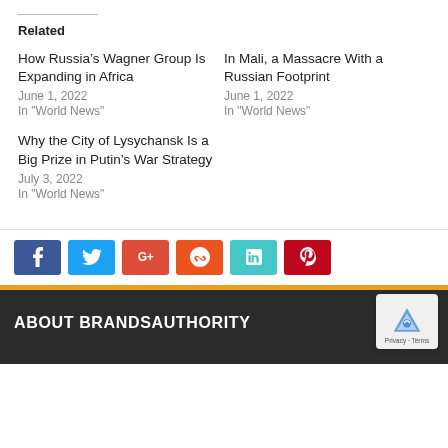Related
How Russia's Wagner Group Is Expanding in Africa
June 1, 2022
In "World News"
In Mali, a Massacre With a Russian Footprint
June 1, 2022
In "World News"
Why the City of Lysychansk Is a Big Prize in Putin's War Strategy
July 3, 2022
In "World News"
[Figure (infographic): Social share buttons: Facebook (blue), Twitter (light blue), Google+ (red), StumbleUpon (orange-red), LinkedIn (teal), Pinterest (red)]
ABOUT BRANDSAUTHORITY